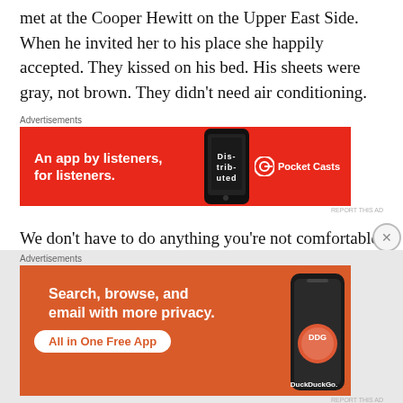met at the Cooper Hewitt on the Upper East Side. When he invited her to his place she happily accepted. They kissed on his bed. His sheets were gray, not brown. They didn't need air conditioning.
[Figure (infographic): Pocket Casts advertisement banner: red background with text 'An app by listeners, for listeners.' and Pocket Casts logo on right, phone image in center with 'Dis-trib-uted' text on screen.]
We don't have to do anything you're not comfortable with. He said it like he meant it.
They continued to kiss, the kind of kiss that felt like it
[Figure (infographic): DuckDuckGo advertisement banner: orange background with text 'Search, browse, and email with more privacy.' and 'All in One Free App' button, DuckDuckGo logo and phone image on right.]